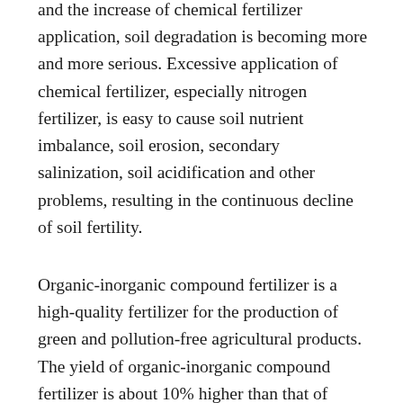and the increase of chemical fertilizer application, soil degradation is becoming more and more serious. Excessive application of chemical fertilizer, especially nitrogen fertilizer, is easy to cause soil nutrient imbalance, soil erosion, secondary salinization, soil acidification and other problems, resulting in the continuous decline of soil fertility.
Organic-inorganic compound fertilizer is a high-quality fertilizer for the production of green and pollution-free agricultural products. The yield of organic-inorganic compound fertilizer is about 10% higher than that of single chemical fertilizer.